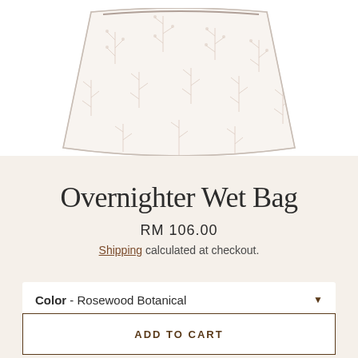[Figure (photo): Partial top view of a white wet bag with subtle rosewood botanical floral print pattern, shown against a white background. Only the upper portion of the bag is visible, cropped at the bottom.]
Overnighter Wet Bag
RM 106.00
Shipping calculated at checkout.
Color - Rosewood Botanical
ADD TO CART